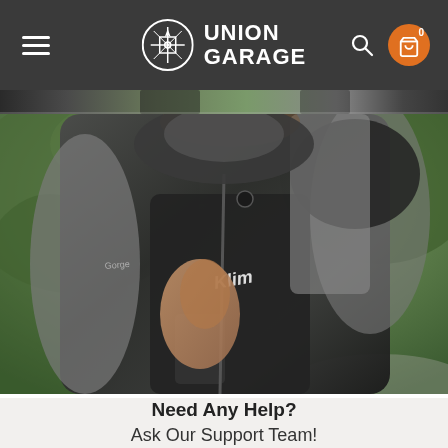Union Garage — Navigation bar with hamburger menu, logo, search and cart icons
[Figure (photo): Partial top strip showing motorcycle riders in gear, blurred background with greenery]
[Figure (photo): Close-up photo of a person wearing a Klim motorcycle jacket, grey and black with leather shoulder panels, zipping up the front, green foliage in background]
Need Any Help?
Ask Our Support Team!